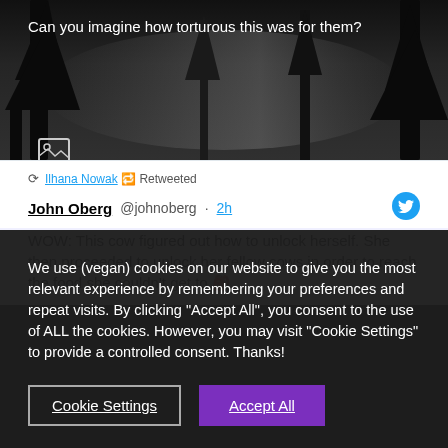[Figure (photo): Dark misty forest background image with trees silhouetted against a foggy grey sky]
Can you imagine how torturous this was for them?
Ilhana Nowak 🔁 Retweeted
John Oberg @johnoberg · 2h
WOW: This cow figured out how to unlock herself. She then proceeded to unlock her fellow cows in order to reach the food she couldn't get to 🎒
We use (vegan) cookies on our website to give you the most relevant experience by remembering your preferences and repeat visits. By clicking "Accept All", you consent to the use of ALL the cookies. However, you may visit "Cookie Settings" to provide a controlled consent. Thanks!